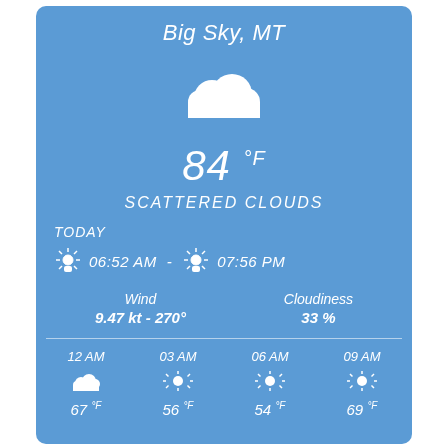Big Sky, MT
[Figure (illustration): White cloud icon on blue background]
84 °F
SCATTERED CLOUDS
TODAY
06:52 AM  -  07:56 PM
Wind
9.47 kt - 270°
Cloudiness
33 %
12 AM
67 °F
03 AM
56 °F
06 AM
54 °F
09 AM
69 °F